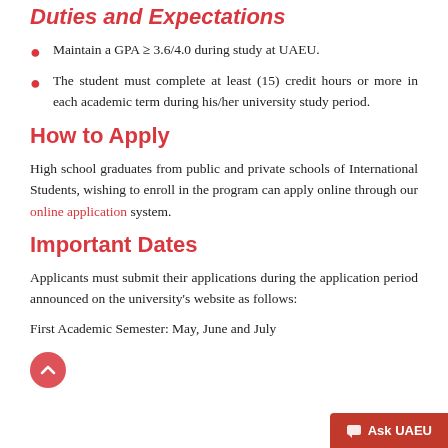Duties and Expectations
Maintain a GPA ≥ 3.6/4.0 during study at UAEU.
The student must complete at least (15) credit hours or more in each academic term during his/her university study period.
How to Apply
High school graduates from public and private schools of International Students, wishing to enroll in the program can apply online through our online application system.
Important Dates
Applicants must submit their applications during the application period announced on the university's website as follows:
First Academic Semester: May, June and July